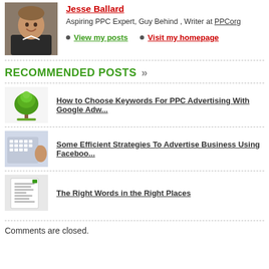[Figure (photo): Author photo: young man smiling, wearing dark jacket, outdoor background]
Jesse Ballard
Aspiring PPC Expert, Guy Behind , Writer at PPCorg
View my posts
Visit my homepage
RECOMMENDED POSTS »
[Figure (illustration): Green tree illustration / logo]
How to Choose Keywords For PPC Advertising With Google Adw...
[Figure (photo): Hand typing on keyboard thumbnail]
Some Efficient Strategies To Advertise Business Using Faceboo...
[Figure (photo): Document/form thumbnail]
The Right Words in the Right Places
Comments are closed.